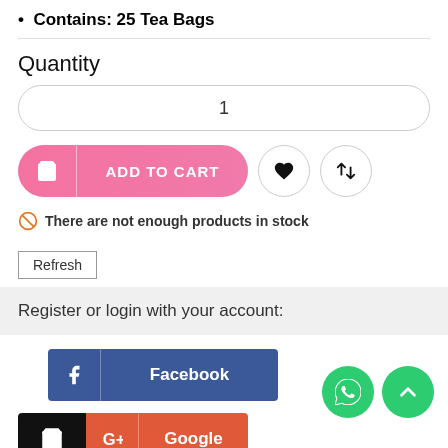Contains: 25 Tea Bags
Quantity
1
ADD TO CART
There are not enough products in stock
Refresh
Register or login with your account:
Facebook
Google